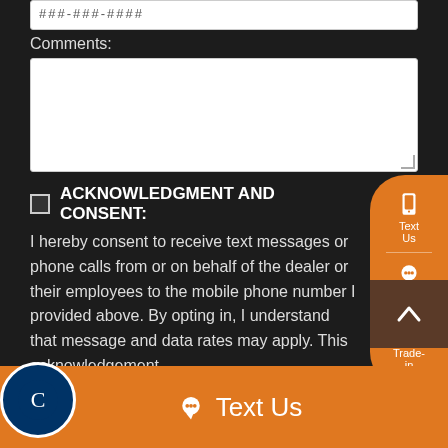###-###-####
Comments:
ACKNOWLEDGMENT AND CONSENT: I hereby consent to receive text messages or phone calls from or on behalf of the dealer or their employees to the mobile phone number I provided above. By opting in, I understand that message and data rates may apply. This acknowledgement ...
Send Inquiry
Text Us
Trade-in
Text Us